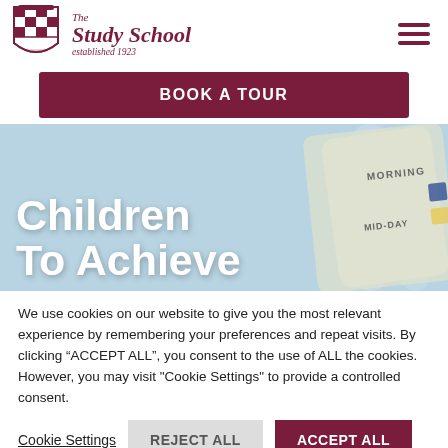[Figure (logo): The Study School coat of arms logo with checkered shield pattern in dark red/maroon, and school name text 'The Study School established 1923' in italic serif font]
[Figure (other): Hamburger menu icon — three horizontal dark red lines]
BOOK A TOUR
[Figure (photo): Hero banner image showing a child's schedule/planner with 'MORNING' and 'MID-DAY' written on it, with a soft blue blurred background. Large white bold text overlay reads 'Children To Achieve']
Children To Achieve
We use cookies on our website to give you the most relevant experience by remembering your preferences and repeat visits. By clicking “ACCEPT ALL”, you consent to the use of ALL the cookies. However, you may visit "Cookie Settings" to provide a controlled consent.
Cookie Settings
REJECT ALL
ACCEPT ALL